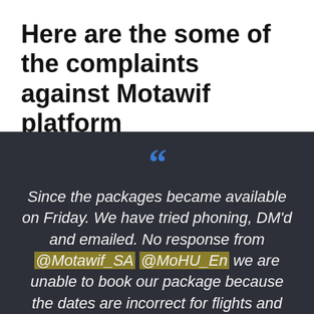Here are the some of the complaints against Motawif platform
Since the packages became available on Friday. We have tried phoning, DM'd and emailed. No response from @Motawif_SA @MoHU_En we are unable to book our package because the dates are incorrect for flights and hotels and